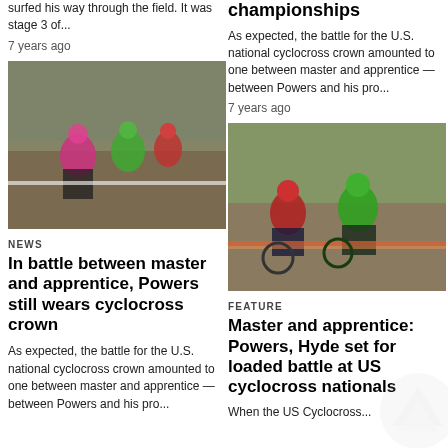surfed his way through the field. It was stage 3 of...
7 years ago
[Figure (photo): Cyclocross race photo showing riders in colorful jerseys navigating a course, left column]
NEWS
In battle between master and apprentice, Powers still wears cyclocross crown
As expected, the battle for the U.S. national cyclocross crown amounted to one between master and apprentice — between Powers and his pro...
championships
As expected, the battle for the U.S. national cyclocross crown amounted to one between master and apprentice — between Powers and his pro...
7 years ago
[Figure (photo): Cyclocross race photo showing riders in colorful jerseys navigating a course, right column]
FEATURE
Master and apprentice: Powers, Hyde set for loaded battle at US cyclocross nationals
When the US Cyclocross...